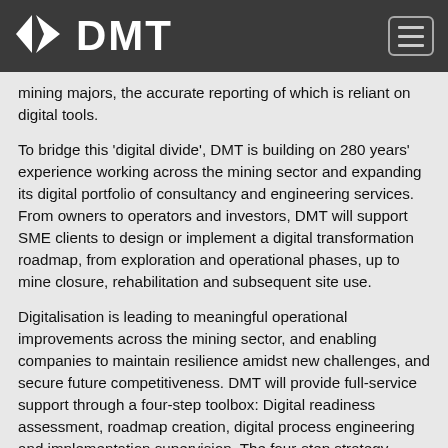DMT
mining majors, the accurate reporting of which is reliant on digital tools.
To bridge this ‘digital divide’, DMT is building on 280 years’ experience working across the mining sector and expanding its digital portfolio of consultancy and engineering services. From owners to operators and investors, DMT will support SME clients to design or implement a digital transformation roadmap, from exploration and operational phases, up to mine closure, rehabilitation and subsequent site use.
Digitalisation is leading to meaningful operational improvements across the mining sector, and enabling companies to maintain resilience amidst new challenges, and secure future competitiveness. DMT will provide full-service support through a four-step toolbox: Digital readiness assessment, roadmap creation, digital process engineering and implementation supervision. The four-step strategy provides a comprehensive analysis of a customer’s digital capabilities and priorities, and outlines a clear roadmap for